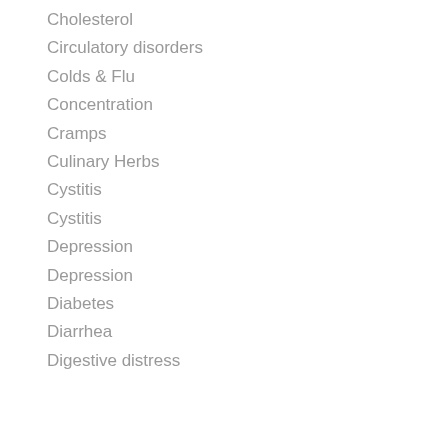Cholesterol
Circulatory disorders
Colds & Flu
Concentration
Cramps
Culinary Herbs
Cystitis
Cystitis
Depression
Depression
Diabetes
Diarrhea
Digestive distress